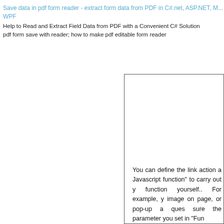Save data in pdf form reader - extract form data from PDF in C# .net, ASP.NET, M... WPF
Help to Read and Extract Field Data from PDF with a Convenient C# Solution pdf form save with reader; how to make pdf editable form reader
You can define the link action a Javascript function" to carry out y function yourself.. For example, y image on page, or pop-up a ques sure the parameter you set in "Fun
Example: Check "Call Javascr "testLightBox("Hello, this is a test")